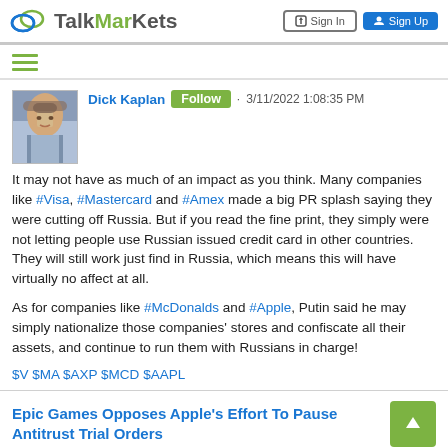TalkMarkets | Sign In | Sign Up
Dick Kaplan · Follow · 3/11/2022 1:08:35 PM

It may not have as much of an impact as you think. Many companies like #Visa, #Mastercard and #Amex made a big PR splash saying they were cutting off Russia. But if you read the fine print, they simply were not letting people use Russian issued credit card in other countries. They will still work just find in Russia, which means this will have virtually no affect at all.

As for companies like #McDonalds and #Apple, Putin said he may simply nationalize those companies' stores and confiscate all their assets, and continue to run them with Russians in charge!

$V $MA $AXP $MCD $AAPL
Epic Games Opposes Apple's Effort To Pause Antitrust Trial Orders